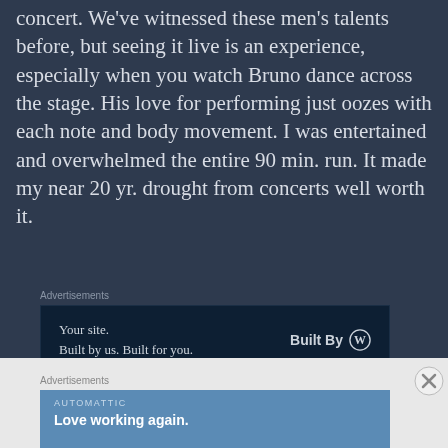concert. We've witnessed these men's talents before, but seeing it live is an experience, especially when you watch Bruno dance across the stage. His love for performing just oozes with each note and body movement. I was entertained and overwhelmed the entire 90 min. run. It made my near 20 yr. drought from concerts well worth it.
[Figure (other): Advertisement box: 'Your site. Built by us. Built for you.' with 'Built By WordPress' logo on dark navy background]
Silk Sonic's spring residency ended this past
[Figure (other): Bottom advertisement overlay: Automattic 'Love working again.' on blue background, with close button]